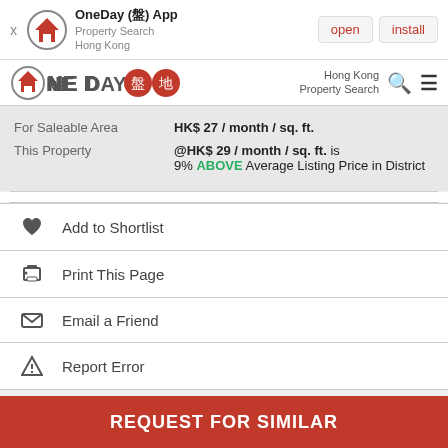[Figure (screenshot): App install banner with OneDay App logo, name, and open/install buttons]
[Figure (logo): OneDay property search Hong Kong navbar logo with search and menu icons]
For Saleable Area   HK$ 27 / month / sq. ft.
This Property   @HK$ 29 / month / sq. ft. is 9% ABOVE Average Listing Price in District
Add to Shortlist
Print This Page
Email a Friend
Report Error
REQUEST FOR SIMILAR